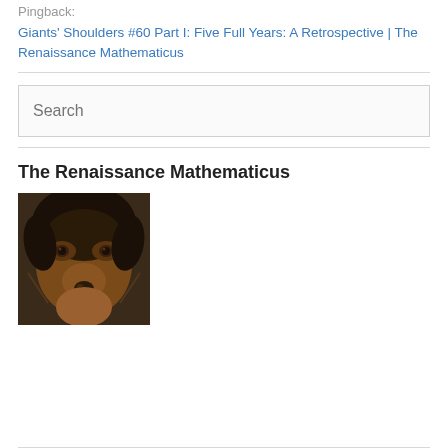Pingback: Giants' Shoulders #60 Part I: Five Full Years: A Retrospective | The Renaissance Mathematicus
Search
The Renaissance Mathematicus
[Figure (photo): Close-up photo of a dog with brown and black fur, looking at the camera.]